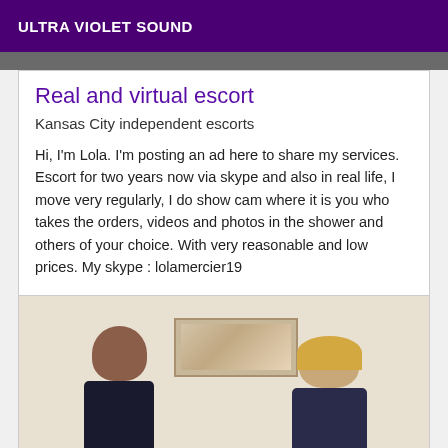ULTRA VIOLET SOUND
Real and virtual escort
Kansas City independent escorts
Hi, I'm Lola. I'm posting an ad here to share my services. Escort for two years now via skype and also in real life, I move very regularly, I do show cam where it is you who takes the orders, videos and photos in the shower and others of your choice. With very reasonable and low prices. My skype : lolamercier19
[Figure (photo): Two women photographed from behind in a room with a wall painting/artwork visible. One has dark hair tied back, the other has blonde hair.]